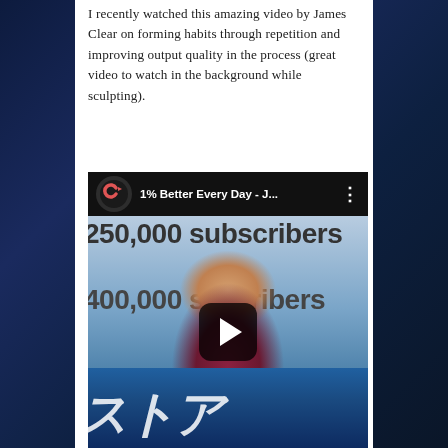I recently watched this amazing video by James Clear on forming habits through repetition and improving output quality in the process (great video to watch in the background while sculpting).
[Figure (screenshot): YouTube video thumbnail/player for '1% Better Every Day - J...' showing a bald man in a dark red checkered shirt speaking on stage, with a slide showing '250,000 subscribers' and '400,000 subscribers' visible behind him. A YouTube-style play button is overlaid in the center.]